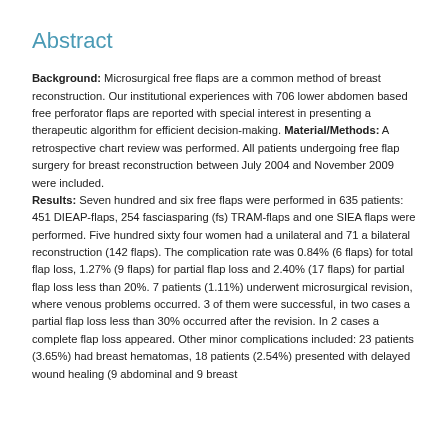Abstract
Background: Microsurgical free flaps are a common method of breast reconstruction. Our institutional experiences with 706 lower abdomen based free perforator flaps are reported with special interest in presenting a therapeutic algorithm for efficient decision-making. Material/Methods: A retrospective chart review was performed. All patients undergoing free flap surgery for breast reconstruction between July 2004 and November 2009 were included.
Results: Seven hundred and six free flaps were performed in 635 patients: 451 DIEAP-flaps, 254 fasciasparing (fs) TRAM-flaps and one SIEA flaps were performed. Five hundred sixty four women had a unilateral and 71 a bilateral reconstruction (142 flaps). The complication rate was 0.84% (6 flaps) for total flap loss, 1.27% (9 flaps) for partial flap loss and 2.40% (17 flaps) for partial flap loss less than 20%. 7 patients (1.11%) underwent microsurgical revision, where venous problems occurred. 3 of them were successful, in two cases a partial flap loss less than 30% occurred after the revision. In 2 cases a complete flap loss appeared. Other minor complications included: 23 patients (3.65%) had breast hematomas, 18 patients (2.54%) presented with delayed wound healing (9 abdominal and 9 breast